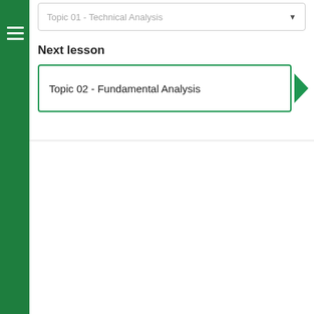Topic 01 - Technical Analysis
Next lesson
Topic 02 - Fundamental Analysis